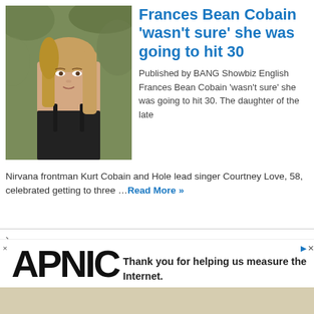[Figure (photo): Young woman with long blonde hair, wearing black spaghetti strap top, photographed outdoors with blurred foliage background]
Frances Bean Cobain 'wasn't sure' she was going to hit 30
Published by BANG Showbiz English Frances Bean Cobain 'wasn't sure' she was going to hit 30. The daughter of the late Nirvana frontman Kurt Cobain and Hole lead singer Courtney Love, 58, celebrated getting to three …Read More »
[Figure (photo): COVID or similar rapid test strips laid out on a wooden surface with packaging box]
Thank you for helping us measure the Internet.